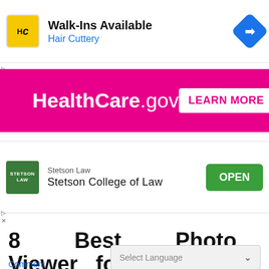[Figure (screenshot): Hair Cuttery ad: logo, 'Walk-Ins Available', 'Hair Cuttery', blue navigation icon]
[Figure (screenshot): HealthCare.gov magenta banner ad with 'LEARN MORE' button]
[Figure (screenshot): Stetson College of Law ad with green logo and OPEN button]
8 Best Photo Viewer for Windows 7/8/10/11 2022
July 22, 2022 By Ravi Pra... Comment